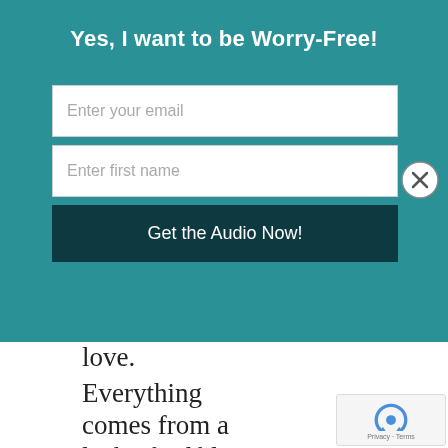Yes, I want to be Worry-Free!
Enter your email
Enter first name
Get the Audio Now!
love.

Everything comes from a lack of self-love – even depression and addiction. When we love ourselves unconditionally, our health, relationships, and life shifts in powerful ways. Instead of focusing on problems we begin to see the gifts and lessons along the way. We see signs that guide us rather than